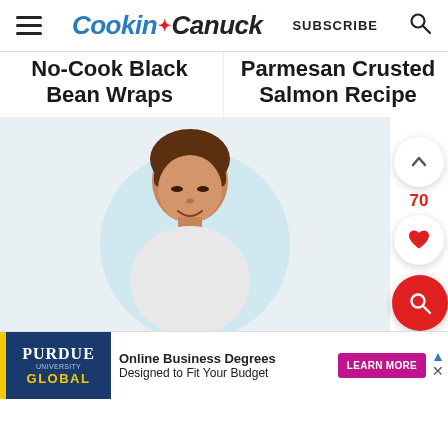Cookin Canuck | SUBSCRIBE
No-Cook Black Bean Wraps
Parmesan Crusted Salmon Recipe
[Figure (photo): Website screenshot showing Cookin Canuck food blog with navigation header, two article link columns (No-Cook Black Bean Wraps and Parmesan Crusted Salmon Recipe), a photo of a woman with brown bangs smiling, floating action buttons (up arrow, 70, heart, red search), and a Purdue University Global advertisement banner at bottom.]
Purdue University Global — Online Business Degrees Designed to Fit Your Budget — LEARN MORE